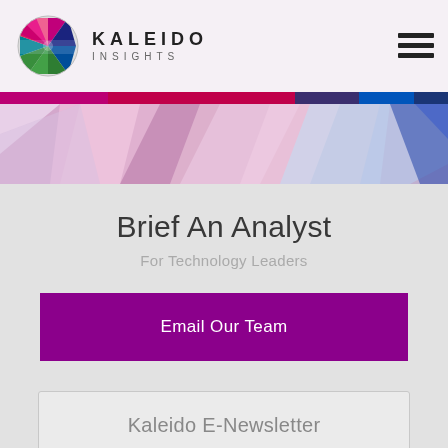[Figure (logo): Kaleido Insights logo with colorful geometric kaleidoscope icon and text 'KALEIDO INSIGHTS']
[Figure (illustration): Colorful geometric polygon hero banner in pinks, purples, and blues]
Brief An Analyst
For Technology Leaders
Email Our Team
Kaleido E-Newsletter